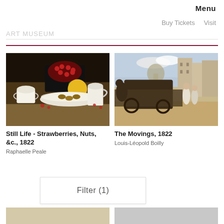Menu
Buy Tickets  Visit
[Figure (photo): Still life painting showing a bowl of strawberries and nuts with a lemon, teacup, and pitcher on a table]
Still Life - Strawberries, Nuts, &c., 1822
Raphaelle Peale
[Figure (photo): Historical painting of The Movings showing a busy street scene with figures and horses in 19th century Paris]
The Movings, 1822
Louis-Léopold Boilly
Filter (1)
[Figure (photo): Partial view of a painting with beige/tan tones at bottom left]
[Figure (photo): Partial view of a painting with gray tones at bottom right]